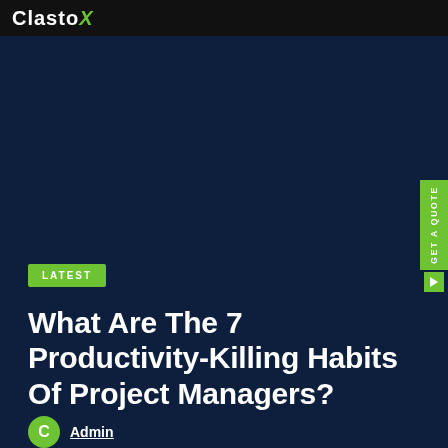ClastoX
LATEST
What Are The 7 Productivity-Killing Habits Of Project Managers?
Admin